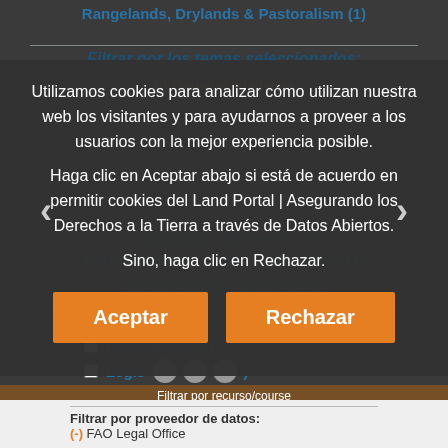Rangelands, Drylands & Pastoralism (1)
Filtrar por los temas seleccionados:
(-) Derecho a la tierra
Ordenación de tierras (3)
Actores involucrados con la tierra (1)
Administración de tierras (6)
Filtrar por tenencia de la tierra (3)
Regulations (2)
Legislación (...)
Utilizamos cookies para analizar cómo utilizan nuestra web los visitantes y para ayudarnos a proveer a los usuarios con la mejor experiencia posible.

Haga clic en Aceptar abajo si está de acuerdo en permitir cookies del Land Portal | Asegurando los Derechos a la Tierra a través de Datos Abiertos.

Sino, haga clic en Rechazar.
Aceptar
Rechazar
Filtrar por recurso/course
Filtrar por proveedor de datos:
(-) FAO Legal Office